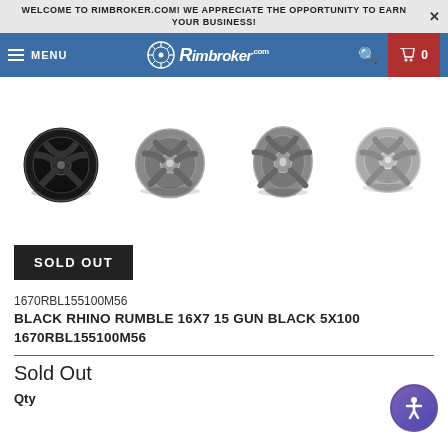WELCOME TO RIMBROKER.COM! WE APPRECIATE THE OPPORTUNITY TO EARN YOUR BUSINESS!
[Figure (screenshot): RimBroker.com navigation bar with hamburger menu, logo, search icon, and cart button showing 0 items]
[Figure (photo): Four views of a Black Rhino Rumble wheel in Gun Black finish, showing front and angled perspectives]
SOLD OUT
1670RBL155100M56
BLACK RHINO RUMBLE 16X7 15 GUN BLACK 5X100 1670RBL155100M56
Sold Out
Qty